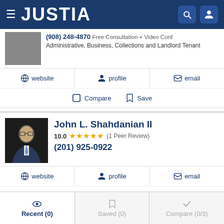JUSTIA
(908) 248-4870 Free Consultation + Video Conf
Administrative, Business, Collections and Landlord Tenant
website  profile  email
Compare  Save
John L. Shahdanian II
10.0 ★★★★★ (1 Peer Review)
(201) 925-0922
website  profile  email
Compare  Save
Recent (0)  Saved (0)  Compare (0/3)